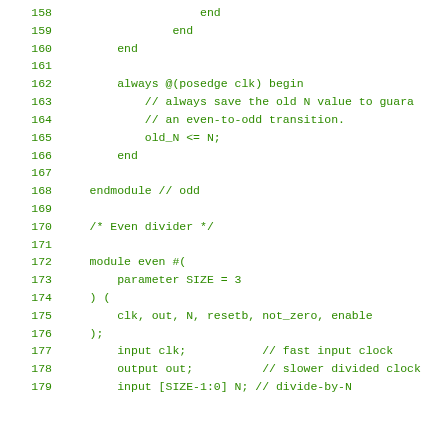[Figure (screenshot): Source code listing in Verilog hardware description language, showing lines 158-178, with green monospace text on white background. The code shows the end of an odd clock divider module and the beginning of an even clock divider module.]